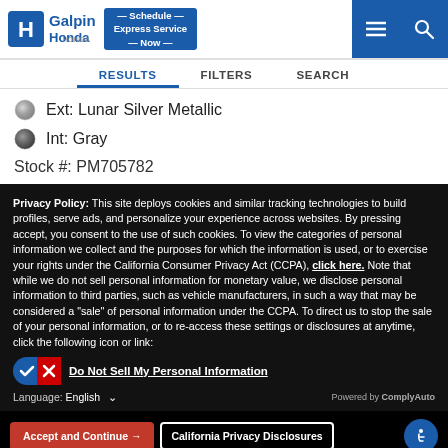[Figure (logo): Honda / Galpin Honda logo with H emblem and blue text]
[Figure (screenshot): Schedule Express Service Now button (blue)]
RESULTS   FILTERS   SEARCH
Ext: Lunar Silver Metallic
Int: Gray
Stock #: PM705782
Privacy Policy: This site deploys cookies and similar tracking technologies to build profiles, serve ads, and personalize your experience across websites. By pressing accept, you consent to the use of such cookies. To view the categories of personal information we collect and the purposes for which the information is used, or to exercise your rights under the California Consumer Privacy Act (CCPA), click here. Note that while we do not sell personal information for monetary value, we disclose personal information to third parties, such as vehicle manufacturers, in such a way that may be considered a "sale" of personal information under the CCPA. To direct us to stop the sale of your personal information, or to re-access these settings or disclosures at anytime, click the following icon or link:
Do Not Sell My Personal Information
Language: English
Powered by ComplyAuto
Accept and Continue →
California Privacy Disclosures